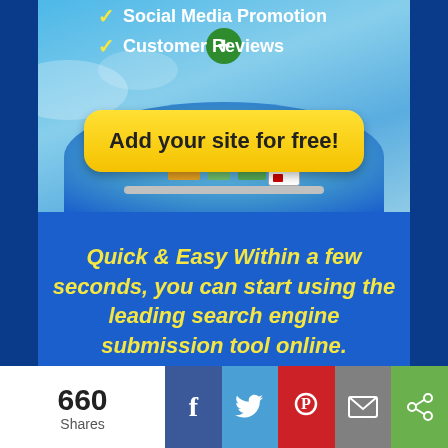[Figure (screenshot): Promotional banner image with light blue background showing Social Media Promotion and Customer Reviews checklist items with yellow check marks, a yellow rounded button saying 'Add your site for free!', and illustrated 3D city/globe graphics below]
✓ Social Media Promotion
✓ Customer Reviews
Quick & Easy Within a few seconds, you can start using the leading search engine submission tool online. It's Free! This service is 100% free of charge and you can use it as often as you
660 Shares | Facebook | Twitter | Pinterest | Email | Share